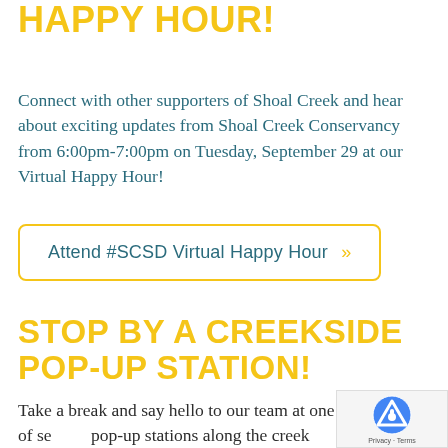HAPPY HOUR!
Connect with other supporters of Shoal Creek and hear about exciting updates from Shoal Creek Conservancy from 6:00pm-7:00pm on Tuesday, September 29 at our Virtual Happy Hour!
Attend #SCSD Virtual Happy Hour »
STOP BY A CREEKSIDE POP-UP STATION!
Take a break and say hello to our team at one of se... pop-up stations along the creek while you're out exploring during our self-led